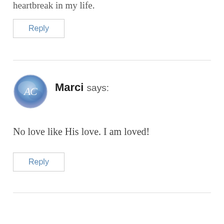heartbreak in my life.
Reply
Marci says:
[Figure (illustration): Circular avatar with blue/purple watercolor background and stylized 'AC' monogram letters in white]
No love like His love. I am loved!
Reply